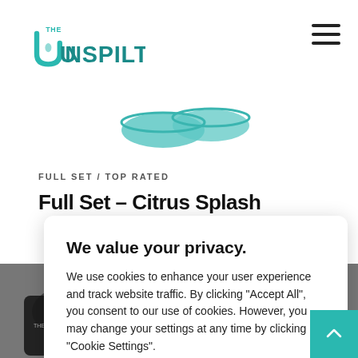[Figure (logo): The Unspilt logo - teal U shape with water drop and teal text 'UNSPILT' with 'THE' above]
[Figure (illustration): Two teal bowl/disc shapes visible at top of page, partial product image]
FULL SET / TOP RATED
Full Set – Citrus Splash
[Figure (screenshot): Cookie consent dialog overlay with title 'We value your privacy.', body text about cookies, and two buttons: 'Cookie Settings' and 'Accept All']
[Figure (photo): Bottom portion of product photo showing dark-colored product items]